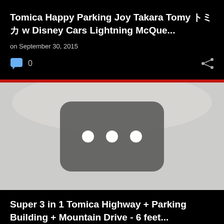Tomica Happy Parking Joy Takara Tomy トミカ w Disney Cars Lightning McQue...
on September 30, 2015
0
[Figure (screenshot): YouTube video thumbnail placeholder with three white dots on a dark rounded rectangle, on a light gray background]
Super 3 in 1 Tomica Highway + Parking Building + Mountain Drive - 6 feet...
on September 1, 2015